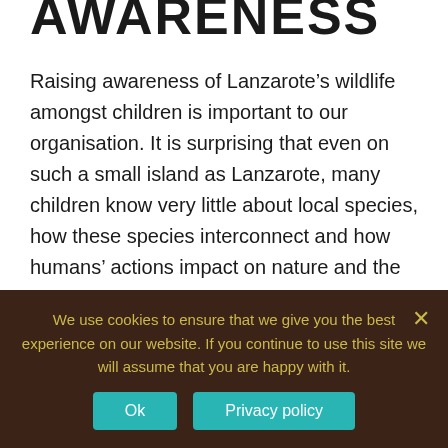AWARENESS
Raising awareness of Lanzarote’s wildlife amongst children is important to our organisation. It is surprising that even on such a small island as Lanzarote, many children know very little about local species, how these species interconnect and how humans’ actions impact on nature and the sustainability of our island. Our aim is to organise exciting and memorable school trips to the desert as
We use cookies to ensure that we give you the best experience on our website. If you continue to use this site we will assume that you are happy with it.